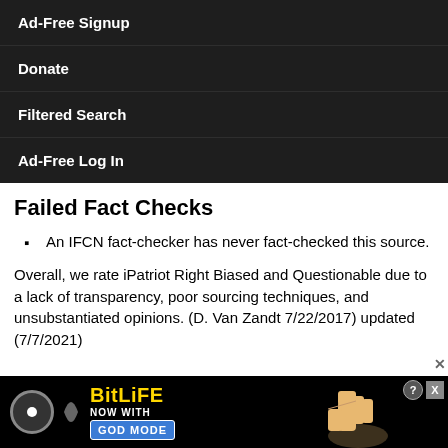Ad-Free Signup
Donate
Filtered Search
Ad-Free Log In
Failed Fact Checks
An IFCN fact-checker has never fact-checked this source.
Overall, we rate iPatriot Right Biased and Questionable due to a lack of transparency, poor sourcing techniques, and unsubstantiated opinions. (D. Van Zandt 7/22/2017) updated (7/7/2021)
[Figure (other): BitLife advertisement banner with 'NOW WITH GOD MODE' text and pointing hand graphic]